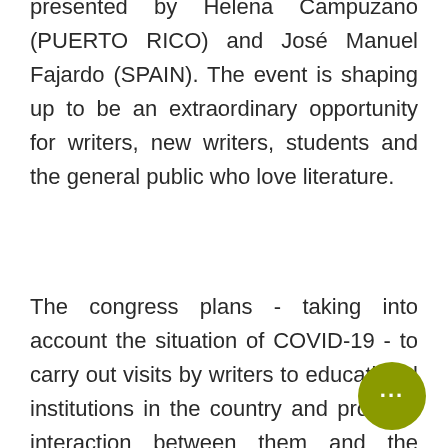presented by Helena Campuzano (PUERTO RICO) and José Manuel Fajardo (SPAIN). The event is shaping up to be an extraordinary opportunity for writers, new writers, students and the general public who love literature.
The congress plans - taking into account the situation of COVID-19 - to carry out visits by writers to educational institutions in the country and promote interaction between them and the public of the activities in Caguas.